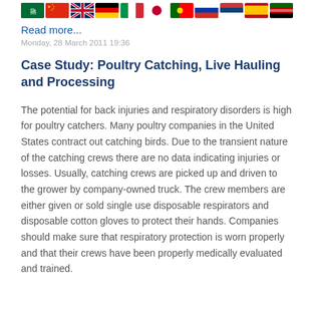[Figure (illustration): Row of country flag icons: Saudi Arabia, China, UK, Germany, Italy, Japan, Portugal, Russia, Serbia, Spain, Kenya]
Read more...
Monday, 28 March 2011 19:36
Case Study: Poultry Catching, Live Hauling and Processing
The potential for back injuries and respiratory disorders is high for poultry catchers. Many poultry companies in the United States contract out catching birds. Due to the transient nature of the catching crews there are no data indicating injuries or losses. Usually, catching crews are picked up and driven to the grower by company-owned truck. The crew members are either given or sold single use disposable respirators and disposable cotton gloves to protect their hands. Companies should make sure that respiratory protection is worn properly and that their crews have been properly medically evaluated and trained.